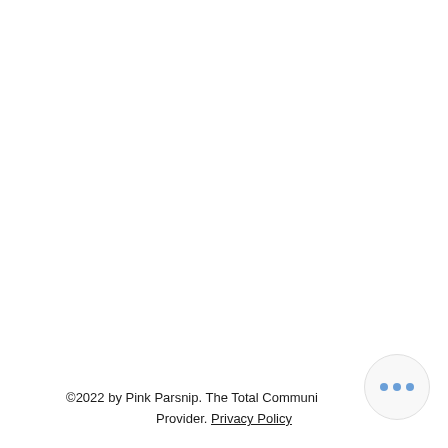©2022 by Pink Parsnip. The Total Community Provider. Privacy Policy